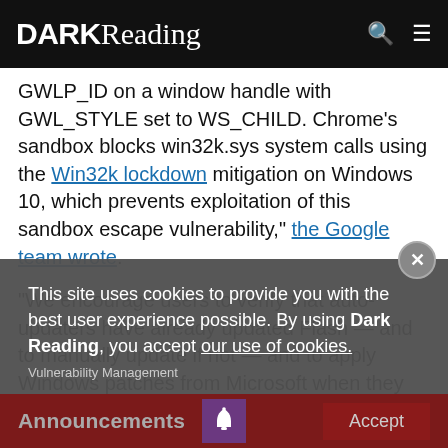DARK Reading
GWLP_ID on a window handle with GWL_STYLE set to WS_CHILD. Chrome's sandbox blocks win32k.sys system calls using the Win32k lockdown mitigation on Windows 10, which prevents exploitation of this sandbox escape vulnerability," the Google team wrote.
"We encourage users to verify that auto-updaters have already updated Flash — and to manually update if not — and to apply Windows patches from Microsoft when they become available for the Windows vulnerability."
This site uses cookies to provide you with the best user experience possible. By using Dark Reading, you accept our use of cookies.
Vulnerability Management
Announcements